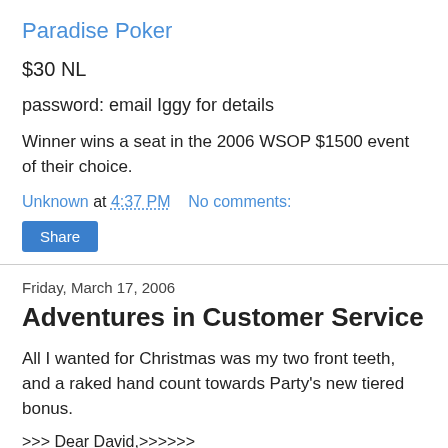Paradise Poker
$30 NL
password: email Iggy for details
Winner wins a seat in the 2006 WSOP $1500 event of their choice.
Unknown at 4:37 PM    No comments:
Share
Friday, March 17, 2006
Adventures in Customer Service
All I wanted for Christmas was my two front teeth, and a raked hand count towards Party's new tiered bonus.
>>> Dear David,>>>>>>
Thank you for contacting us >>>>>>